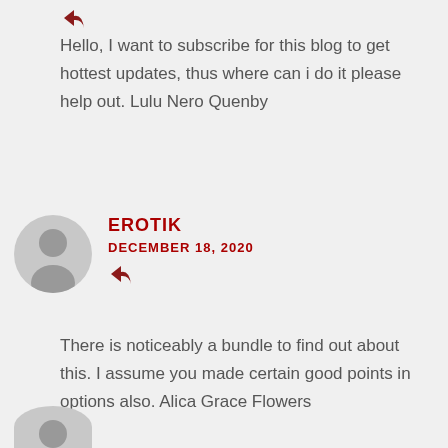[Figure (illustration): Red reply arrow icon at top left]
Hello, I want to subscribe for this blog to get hottest updates, thus where can i do it please help out. Lulu Nero Quenby
[Figure (illustration): Gray circular avatar with person silhouette]
EROTIK
DECEMBER 18, 2020
[Figure (illustration): Red reply arrow icon]
There is noticeably a bundle to find out about this. I assume you made certain good points in options also. Alica Grace Flowers
[Figure (illustration): Partial gray circular avatar at bottom]